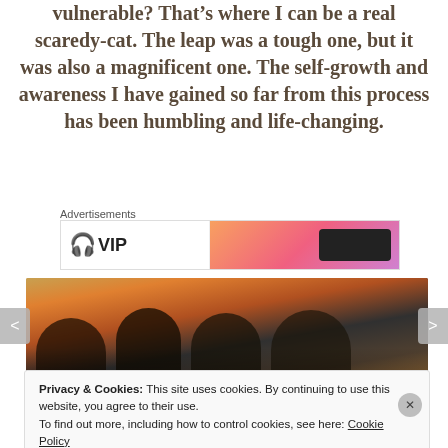vulnerable? That’s where I can be a real scaredy-cat. The leap was a tough one, but it was also a magnificent one. The self-growth and awareness I have gained so far from this process has been humbling and life-changing.
Advertisements
[Figure (photo): Advertisement banner with headphones icon and VIP text on the left and an orange-pink gradient on the right with a dark button]
[Figure (photo): Group photo of four people smiling at a restaurant or bar, with warm orange and brown tones in the background]
Privacy & Cookies: This site uses cookies. By continuing to use this website, you agree to their use.
To find out more, including how to control cookies, see here: Cookie Policy
Close and accept